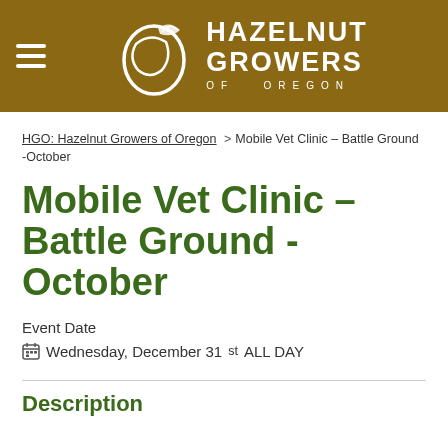HAZELNUT GROWERS OF OREGON
HGO: Hazelnut Growers of Oregon > Mobile Vet Clinic – Battle Ground -October
Mobile Vet Clinic – Battle Ground -October
Event Date
Wednesday, December 31st ALL DAY
Description